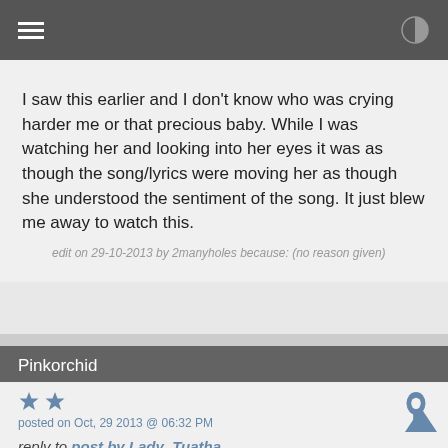Navigation bar with hamburger menu and contrast icon
I saw this earlier and I don't know who was crying harder me or that precious baby. While I was watching her and looking into her eyes it was as though the song/lyrics were moving her as though she understood the sentiment of the song. It just blew me away to watch this.
edit on 29-10-2013 by 2manyholes because: (no reason given)
Pinkorchid
posted on Oct, 29 2013 @ 06:32 PM
reply to post by Lady_Tuatha
This video made my day.

Now who was it that said babies can't understand words ohhh?